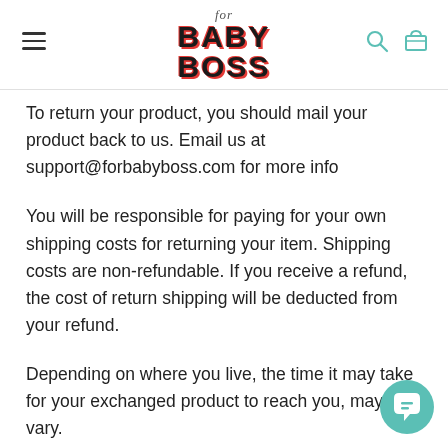for BABY BOSS
To return your product, you should mail your product back to us. Email us at support@forbabyboss.com for more info
You will be responsible for paying for your own shipping costs for returning your item. Shipping costs are non-refundable. If you receive a refund, the cost of return shipping will be deducted from your refund.
Depending on where you live, the time it may take for your exchanged product to reach you, may vary.